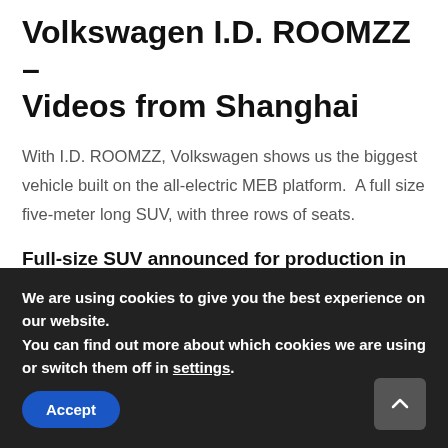Volkswagen I.D. ROOMZZ – Videos from Shanghai
With I.D. ROOMZZ, Volkswagen shows us the biggest vehicle built on the all-electric MEB platform.  A full size five-meter long SUV, with three rows of seats.
Full-size SUV announced for production in 2021
The concept was unveiled at the “Brand SUV Night”, by the way of 2019 Shanghai Auto Show, and will have a production version in China in 2021 (other markets
We are using cookies to give you the best experience on our website.
You can find out more about which cookies we are using or switch them off in settings.
Accept